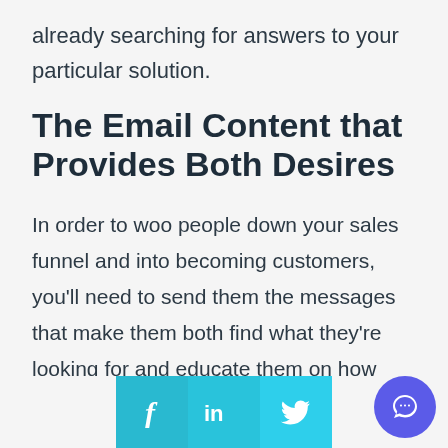already searching for answers to your particular solution.
The Email Content that Provides Both Desires
In order to woo people down your sales funnel and into becoming customers, you'll need to send them the messages that make them both find what they're looking for and educate them on how you can help th…
[Figure (infographic): Social share buttons: Facebook (f), LinkedIn (in), Twitter bird icon — all in cyan/teal color. A purple circular chat bubble icon appears in the bottom-right corner.]